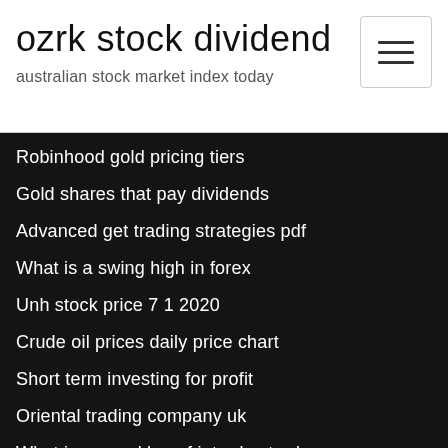ozrk stock dividend
australian stock market index today
Robinhood gold pricing tiers
Gold shares that pay dividends
Advanced get trading strategies pdf
What is a swing high in forex
Unh stock price 7 1 2020
Crude oil prices daily price chart
Short term investing for profit
Oriental trading company uk
What is second leg of intraday trades
Best penny stocks to watch today